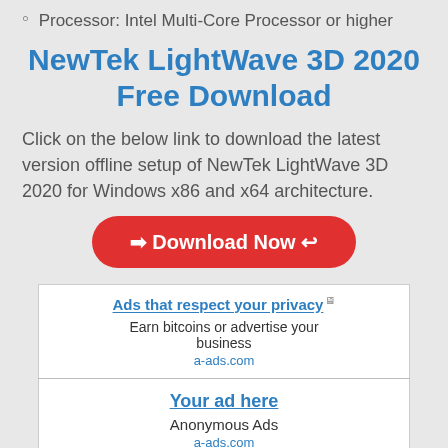Processor: Intel Multi-Core Processor or higher
NewTek LightWave 3D 2020 Free Download
Click on the below link to download the latest version offline setup of NewTek LightWave 3D 2020 for Windows x86 and x64 architecture.
[Figure (other): Red Download Now button with arrow icons]
[Figure (other): Ad box: Ads that respect your privacy - Earn bitcoins or advertise your business - a-ads.com]
[Figure (other): Ad box: Your ad here - Anonymous Ads - a-ads.com]
[Figure (other): Partial ad box: Signup and steal a JACKPOT (cut off)]